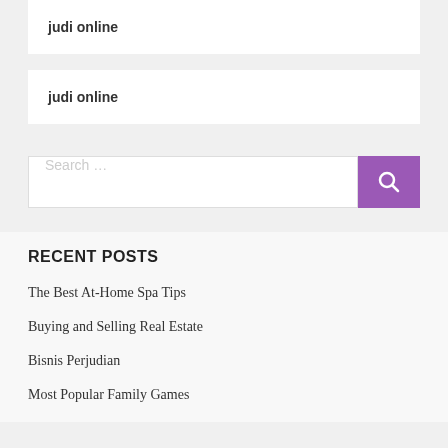judi online
judi online
Search ...
RECENT POSTS
The Best At-Home Spa Tips
Buying and Selling Real Estate
Bisnis Perjudian
Most Popular Family Games